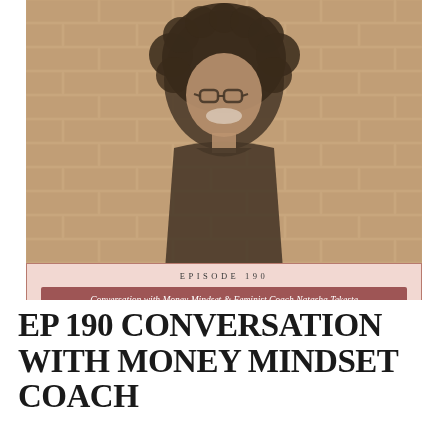[Figure (photo): A woman with curly hair and glasses smiling against a brick wall background, wearing a black top. Photo is tinted/desaturated with warm overlay.]
EPISODE 190
Conversation with Money Mindset & Feminist Coach Natasha Tekeste
EP 190 CONVERSATION WITH MONEY MINDSET COACH